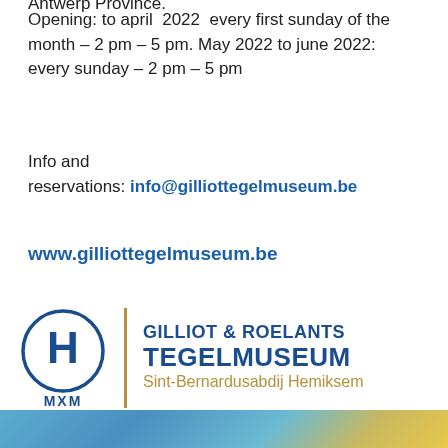Antwerp Province.
Opening: to april 2022 every first sunday of the month – 2 pm – 5 pm. May 2022 to june 2022: every sunday – 2 pm – 5 pm
Info and reservations: info@gilliottegelmuseum.be
www.gilliottegelmuseum.be
[Figure (logo): Gilliot & Roelants Tegelmuseum logo with MXM circle emblem, gold vertical divider, and text 'GILLIOT & ROELANTS TEGELMUSEUM Sint-Bernardusabdij Hemiksem']
[Figure (photo): Partial photo strip at bottom showing blue and yellow decorative tile imagery]